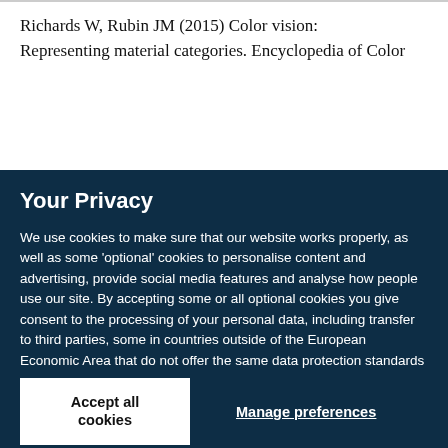Richards W, Rubin JM (2015) Color vision: Representing material categories. Encyclopedia of Color
Your Privacy
We use cookies to make sure that our website works properly, as well as some ‘optional’ cookies to personalise content and advertising, provide social media features and analyse how people use our site. By accepting some or all optional cookies you give consent to the processing of your personal data, including transfer to third parties, some in countries outside of the European Economic Area that do not offer the same data protection standards as the country where you live. You can decide which optional cookies to accept by clicking on ‘Manage Settings’, where you can also find more information about how your personal data is processed. Further information can be found in our privacy policy.
Accept all cookies
Manage preferences